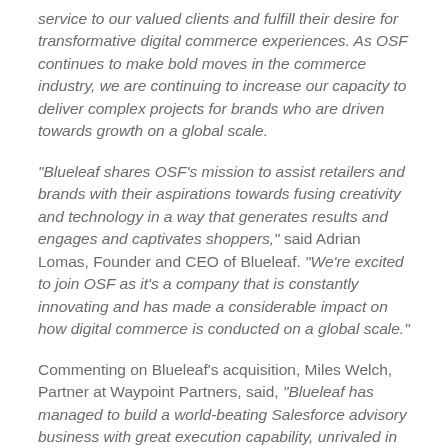service to our valued clients and fulfill their desire for transformative digital commerce experiences. As OSF continues to make bold moves in the commerce industry, we are continuing to increase our capacity to deliver complex projects for brands who are driven towards growth on a global scale.
“Blueleaf shares OSF’s mission to assist retailers and brands with their aspirations towards fusing creativity and technology in a way that generates results and engages and captivates shoppers,” said Adrian Lomas, Founder and CEO of Blueleaf. “We’re excited to join OSF as it’s a company that is constantly innovating and has made a considerable impact on how digital commerce is conducted on a global scale.”
Commenting on Blueleaf’s acquisition, Miles Welch, Partner at Waypoint Partners, said, “Blueleaf has managed to build a world-beating Salesforce advisory business with great execution capability, unrivaled in the UK market. With OSF Digital’s international footprint and its complementary